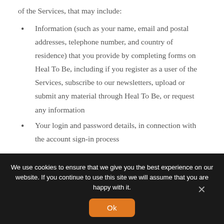of the Services, that may include:
Information (such as your name, email and postal addresses, telephone number, and country of residence) that you provide by completing forms on Heal To Be, including if you register as a user of the Services, subscribe to our newsletters, upload or submit any material through Heal To Be, or request any information
Your login and password details, in connection with the account sign-in process
We use cookies to ensure that we give you the best experience on our website. If you continue to use this site we will assume that you are happy with it.